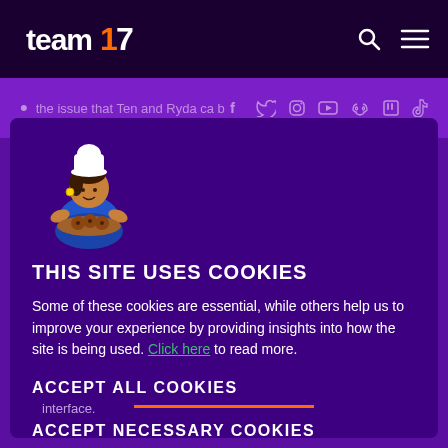team17 [logo] | search icon | menu icon
the issue that Ten and Ryda c... [social icons: Facebook, Twitter, Instagram, YouTube, Discord, Twitch, TikTok]
[Figure (illustration): Animated character of a woman in a blue outfit holding a tray of cookies, wearing a chef hat]
THIS SITE USES COOKIES
Some of these cookies are essential, while others help us to improve your experience by providing insights into how the site is being used. Click here to read more.
ACCEPT ALL COOKIES
ACCEPT NECESSARY COOKIES
interface.